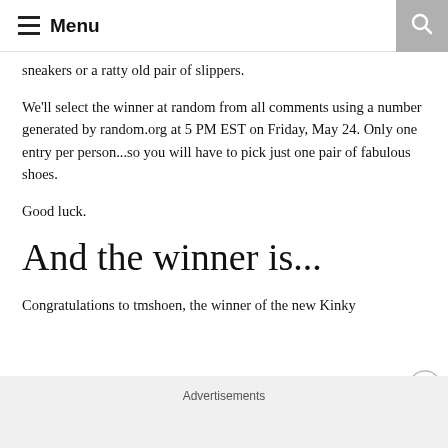Menu
sneakers or a ratty old pair of slippers.
We'll select the winner at random from all comments using a number generated by random.org at 5 PM EST on Friday, May 24. Only one entry per person...so you will have to pick just one pair of fabulous shoes.
Good luck.
And the winner is...
Congratulations to tmshoen, the winner of the new Kinky
Advertisements